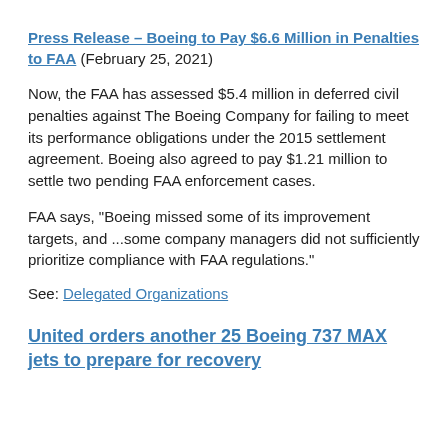Press Release – Boeing to Pay $6.6 Million in Penalties to FAA (February 25, 2021)
Now, the FAA has assessed $5.4 million in deferred civil penalties against The Boeing Company for failing to meet its performance obligations under the 2015 settlement agreement. Boeing also agreed to pay $1.21 million to settle two pending FAA enforcement cases.
FAA says, “Boeing missed some of its improvement targets, and ...some company managers did not sufficiently prioritize compliance with FAA regulations.”
See: Delegated Organizations
United orders another 25 Boeing 737 MAX jets to prepare for recovery